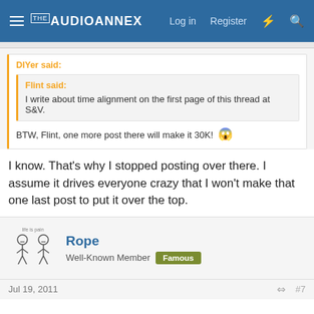THE AUDIO ANNEX — Log in  Register
DIYer said:
Flint said:
I write about time alignment on the first page of this thread at S&V.
BTW, Flint, one more post there will make it 30K! 😱
I know. That's why I stopped posting over there. I assume it drives everyone crazy that I won't make that one last post to put it over the top.
Rope
Well-Known Member  Famous
Jul 19, 2011  #7